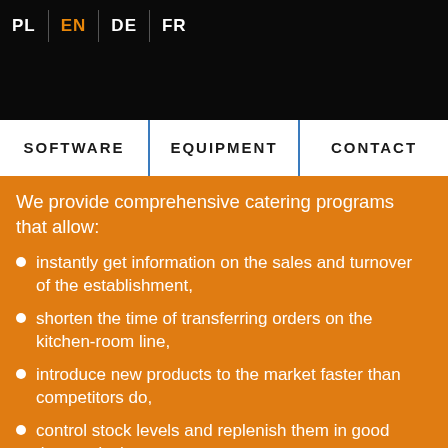PL EN DE FR
SOFTWARE   EQUIPMENT   CONTACT
We provide comprehensive catering programs that allow:
instantly get information on the sales and turnover of the establishment,
shorten the time of transferring orders on the kitchen-room line,
introduce new products to the market faster than competitors do,
control stock levels and replenish them in good time, reducing storage costs,